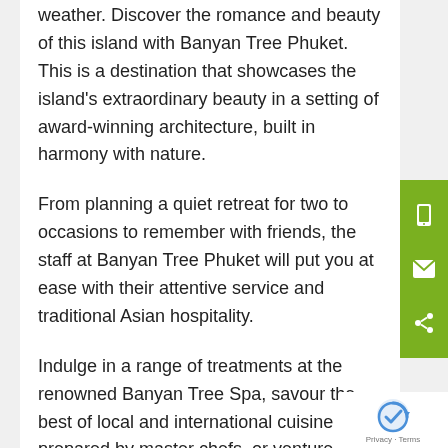weather. Discover the romance and beauty of this island with Banyan Tree Phuket. This is a destination that showcases the island's extraordinary beauty in a setting of award-winning architecture, built in harmony with nature.
From planning a quiet retreat for two to occasions to remember with friends, the staff at Banyan Tree Phuket will put you at ease with their attentive service and traditional Asian hospitality.
Indulge in a range of treatments at the renowned Banyan Tree Spa, savour the best of local and international cuisine as prepared by master chefs, or venture out to
[Figure (other): Green sidebar with phone, email, and share icons]
[Figure (other): reCAPTCHA badge with Privacy and Terms text]